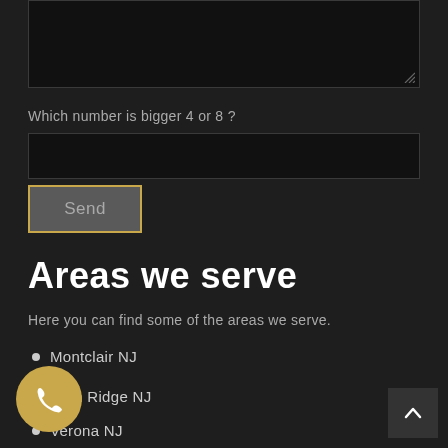[Figure (screenshot): Textarea input field (dark background, dark border)]
Which number is bigger 4 or 8 ?
[Figure (screenshot): Text input field (dark background, dark border)]
[Figure (screenshot): Send button with golden border]
Areas we serve
Here you can find some of the areas we serve.
Montclair NJ
Glen Ridge NJ
Verona NJ